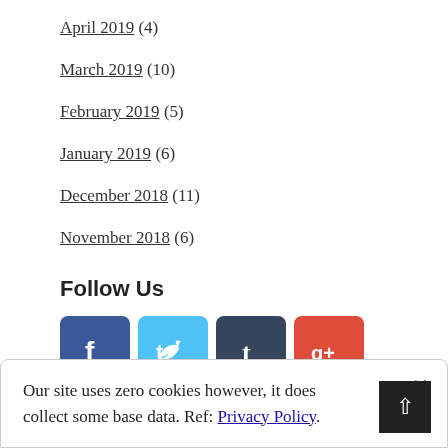April 2019 (4)
March 2019 (10)
February 2019 (5)
January 2019 (6)
December 2018 (11)
November 2018 (6)
Follow Us
[Figure (other): Social media icons: Facebook, Twitter, Tumblr, Google+]
Our site uses zero cookies however, it does collect some base data. Ref: Privacy Policy.